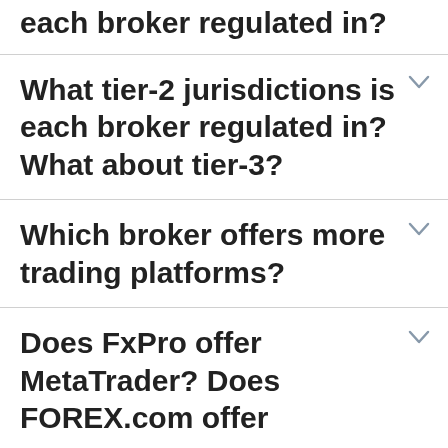each broker regulated in?
What tier-2 jurisdictions is each broker regulated in? What about tier-3?
Which broker offers more trading platforms?
Does FxPro offer MetaTrader? Does FOREX.com offer